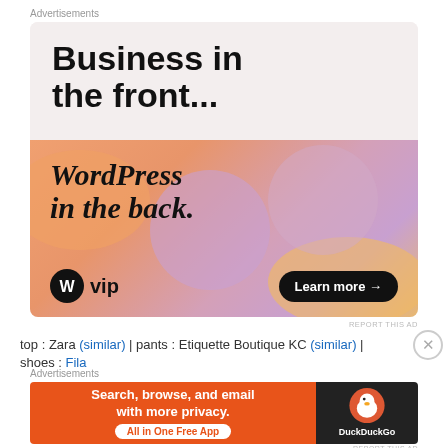Advertisements
[Figure (illustration): WordPress VIP advertisement banner. Top half: white/light background with large bold text 'Business in the front...'. Bottom half: gradient orange-pink-purple background with decorative blobs, serif bold italic text 'WordPress in the back.', WordPress VIP logo bottom left, and 'Learn more →' dark pill button bottom right.]
REPORT THIS AD
top : Zara (similar) | pants : Etiquette Boutique KC (similar) | shoes : Fila
Advertisements
[Figure (illustration): DuckDuckGo advertisement banner. Left orange section: 'Search, browse, and email with more privacy. All in One Free App'. Right dark section: DuckDuckGo duck logo and DuckDuckGo text.]
REPORT THIS AD